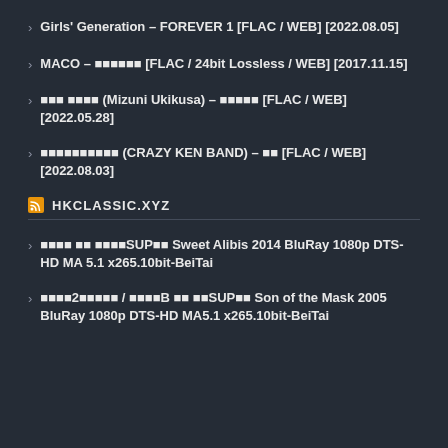Girls' Generation – FOREVER 1 [FLAC / WEB] [2022.08.05]
MACO – ■■■■■■ [FLAC / 24bit Lossless / WEB] [2017.11.15]
■■■ ■■■■ (Mizuni Ukikusa) – ■■■■■ [FLAC / WEB] [2022.05.28]
■■■■■■■■■■ (CRAZY KEN BAND) – ■■ [FLAC / WEB] [2022.08.03]
HKCLASSIC.XYZ
■■■■ ■■ ■■■■SUP■■ Sweet Alibis 2014 BluRay 1080p DTS-HD MA 5.1 x265.10bit-BeiTai
■■■■2■■■■■ / ■■■■B ■■ ■■SUP■■ Son of the Mask 2005 BluRay 1080p DTS-HD MA5.1 x265.10bit-BeiTai